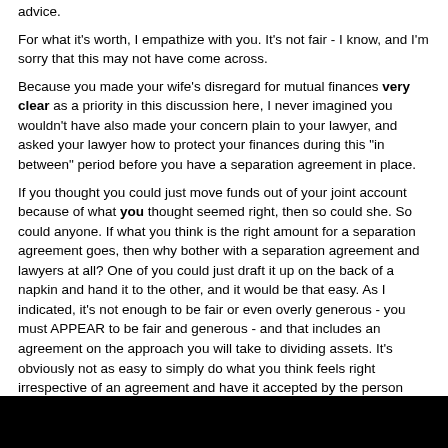advice.
For what it's worth, I empathize with you. It's not fair - I know, and I'm sorry that this may not have come across.
Because you made your wife's disregard for mutual finances very clear as a priority in this discussion here, I never imagined you wouldn't have also made your concern plain to your lawyer, and asked your lawyer how to protect your finances during this "in between" period before you have a separation agreement in place.
If you thought you could just move funds out of your joint account because of what you thought seemed right, then so could she. So could anyone. If what you think is the right amount for a separation agreement goes, then why bother with a separation agreement and lawyers at all? One of you could just draft it up on the back of a napkin and hand it to the other, and it would be that easy. As I indicated, it's not enough to be fair or even overly generous - you must APPEAR to be fair and generous - and that includes an agreement on the approach you will take to dividing assets. It's obviously not as easy to simply do what you think feels right irrespective of an agreement and have it accepted by the person divorcing you, and my advice and observations were intended to help you avoid the cost, heartbreak, and frustration of that.
The short book I recommended upthread, the Smart Divorce, discusses how to use lawyers - how to prepare for the meetings with them to get the best results - pointing out common mistakes. I'll refrain from commenting